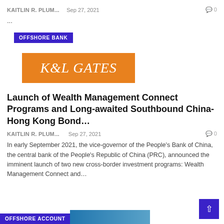KAITLIN R. PLUM...   Sep 27, 2021   ◎ 0
...
OFFSHORE BANK
[Figure (logo): K&L GATES orange logo]
Launch of Wealth Management Connect Programs and Long-awaited Southbound China-Hong Kong Bond...
KAITLIN R. PLUM...   Sep 27, 2021   ◎ 0
In early September 2021, the vice-governor of the People's Bank of China, the central bank of the People's Republic of China (PRC), announced the imminent launch of two new cross-border investment programs: Wealth Management Connect and...
OFFSHORE ACCOUNT